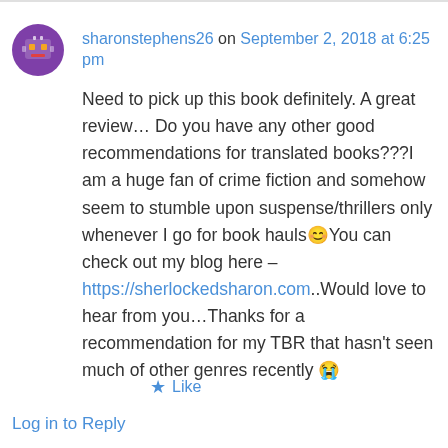sharonstephens26 on September 2, 2018 at 6:25 pm
Need to pick up this book definitely. A great review… Do you have any other good recommendations for translated books???I am a huge fan of crime fiction and somehow seem to stumble upon suspense/thrillers only whenever I go for book hauls😊You can check out my blog here – https://sherlockedsharon.com..Would love to hear from you…Thanks for a recommendation for my TBR that hasn't seen much of other genres recently 😂
★ Like
Log in to Reply